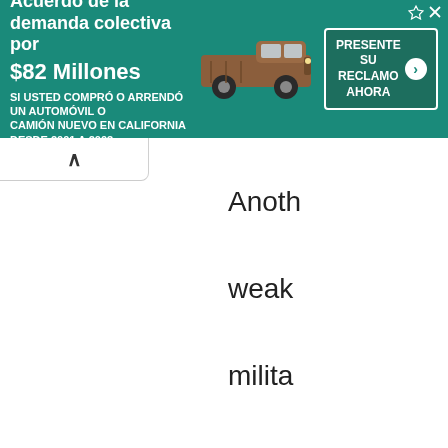[Figure (infographic): Advertisement banner with teal/green background. Text reads: 'Acuerdo de la demanda colectiva por $82 Millones' and 'SI USTED COMPRÓ O ARRENDÓ UN AUTOMÓVIL O CAMIÓN NUEVO EN CALIFORNIA DESDE 2001 A 2003'. Shows a brown pickup truck image and a 'PRESENTE SU RECLAMO AHORA' call-to-action button.]
Anoth weak milita and n loyalt the W accor have can p